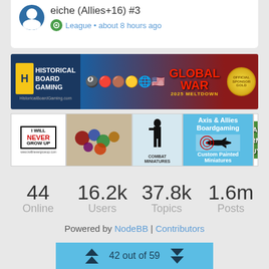eiche (Allies+16) #3
League • about 8 hours ago
[Figure (screenshot): Historical Board Gaming banner advertisement for Global War 2025 Meltdown]
[Figure (screenshot): Sponsor logos row: I Will Never Grow Up, Combat Miniatures, Axis & Allies Boardgaming Custom Painted Miniatures, Dean's Army Guys]
44
Online
16.2k
Users
37.8k
Topics
1.6m
Posts
Powered by NodeBB | Contributors
42 out of 59